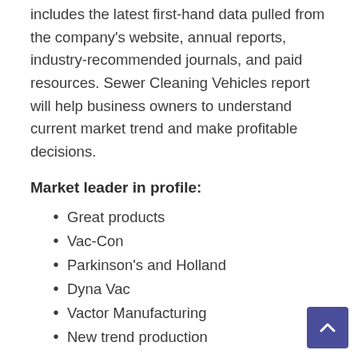includes the latest first-hand data pulled from the company's website, annual reports, industry-recommended journals, and paid resources. Sewer Cleaning Vehicles report will help business owners to understand current market trend and make profitable decisions.
Market leader in profile:
Great products
Vac-Con
Parkinson's and Holland
Dyna Vac
Vactor Manufacturing
New trend production
Report Analysis & Segments: